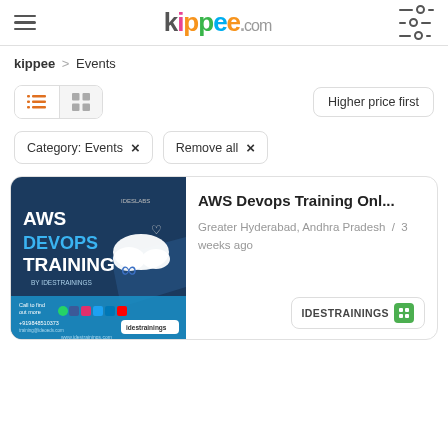kippee.com
kippee > Events
Higher price first
Category: Events × Remove all ×
[Figure (screenshot): AWS Devops Training advertisement image by IDESTRAININGS with cloud and infinity symbol graphic]
AWS Devops Training Onl...
Greater Hyderabad, Andhra Pradesh / 3 weeks ago
IDESTRAININGS